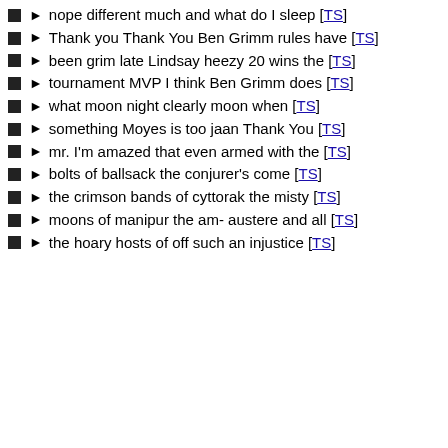► nope different much and what do I sleep [TS]
► Thank you Thank You Ben Grimm rules have [TS]
► been grim late Lindsay heezy 20 wins the [TS]
► tournament MVP I think Ben Grimm does [TS]
► what moon night clearly moon when [TS]
► something Moyes is too jaan Thank You [TS]
► mr. I'm amazed that even armed with the [TS]
► bolts of ballsack the conjurer's come [TS]
► the crimson bands of cyttorak the misty [TS]
► moons of manipur the am- austere and all [TS]
► the hoary hosts of off such an injustice [TS]